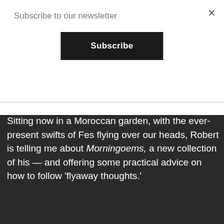Subscribe to our newsletter
Subscribe
Sitting now in a Moroccan garden, with the ever-present swifts of Fes flying over our heads, Robert is telling me about Morningoems, a new collection of his — and offering some practical advice on how to follow 'flyaway thoughts.'
[Figure (screenshot): Video thumbnail showing MORNING POEMS by Robert Bly with author Tim Wilson label, overlaid on outdoor garden scene with person]
Privacy · Terms